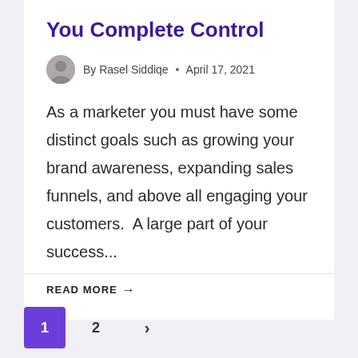You Complete Control
By Rasel Siddiqe • April 17, 2021
As a marketer you must have some distinct goals such as growing your brand awareness, expanding sales funnels, and above all engaging your customers.  A large part of your success...
READ MORE →